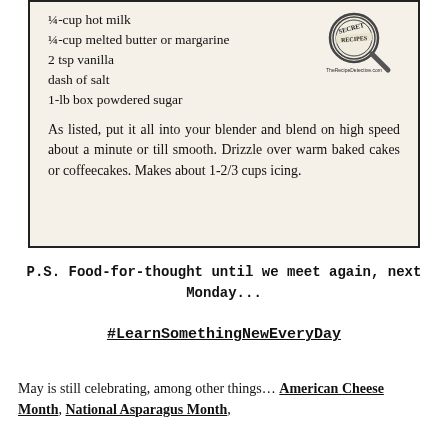¼-cup hot milk
¼-cup melted butter or margarine
2 tsp vanilla
dash of salt
1-lb box powdered sugar
As listed, put it all into your blender and blend on high speed about a minute or till smooth. Drizzle over warm baked cakes or coffeecakes. Makes about 1-2/3 cups icing.
P.S. Food-for-thought until we meet again, next Monday...
#LearnSomethingNewEveryDay
May is still celebrating, among other things... American Cheese Month, National Asparagus Month,